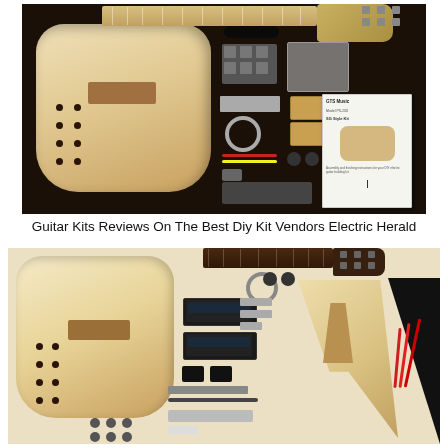[Figure (photo): Top-down flat lay photo on dark background showing an unfinished electric guitar body (Les Paul style, natural wood), guitar neck with fretboard, headstock, and assorted hardware components including tuning pegs, pickups, bridge, knobs, wiring, screws in bag, and a GTS Music instruction booklet.]
Guitar Kits Reviews On The Best Diy Kit Vendors Electric Herald
[Figure (photo): Flat lay photo on light background showing two DIY electric guitar kit layouts: left side features a Les Paul style unfinished guitar body and various components including pickups, controls, tuners, and hardware; right side features a Flying V style unfinished guitar body with a dark triangular accent, plus a dark fretboard neck and additional hardware scattered in the center.]